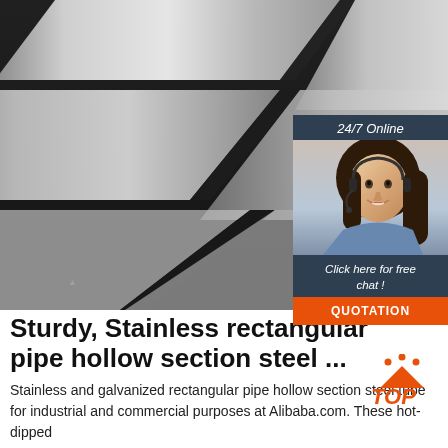[Figure (photo): Close-up photo of multiple flat stainless steel bars/strips arranged diagonally against a dark background, showing metallic silver surfaces]
[Figure (infographic): 24/7 Online chat support box with a photo of a female customer service representative wearing a headset, text reading 'Click here for free chat!' and an orange QUOTATION button]
Sturdy, Stainless rectangular pipe hollow section steel ...
Stainless and galvanized rectangular pipe hollow section steel tube for industrial and commercial purposes at Alibaba.com. These hot-dipped
[Figure (logo): TOP logo with orange triangle/arrow and dots above, orange italic TOP text]